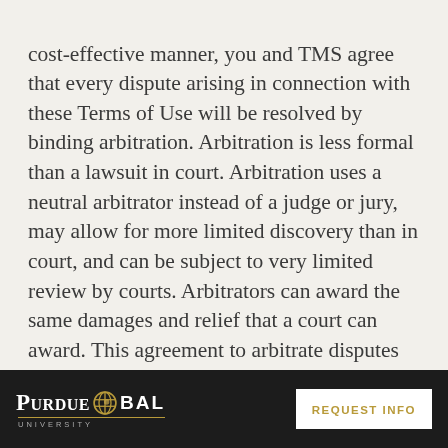cost-effective manner, you and TMS agree that every dispute arising in connection with these Terms of Use will be resolved by binding arbitration. Arbitration is less formal than a lawsuit in court. Arbitration uses a neutral arbitrator instead of a judge or jury, may allow for more limited discovery than in court, and can be subject to very limited review by courts. Arbitrators can award the same damages and relief that a court can award. This agreement to arbitrate disputes includes all claims arising out of or relating to any aspect of these Terms of Use, whether based in contract, tort, statute, fraud, misrepresentation, or any other legal
PURDUE GLOBAL | REQUEST INFO